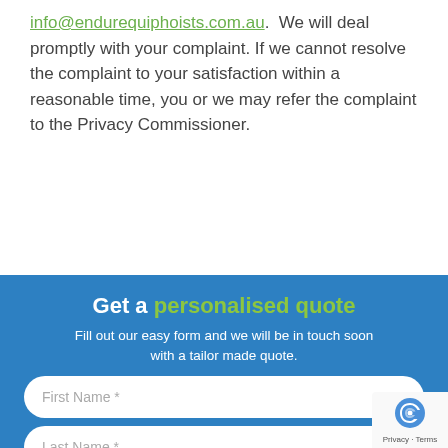info@endurequiphoists.com.au.  We will deal promptly with your complaint. If we cannot resolve the complaint to your satisfaction within a reasonable time, you or we may refer the complaint to the Privacy Commissioner.
Get a personalised quote
Fill out our easy form and we will be in touch soon with a tailor made quote.
First Name *
Last Name *